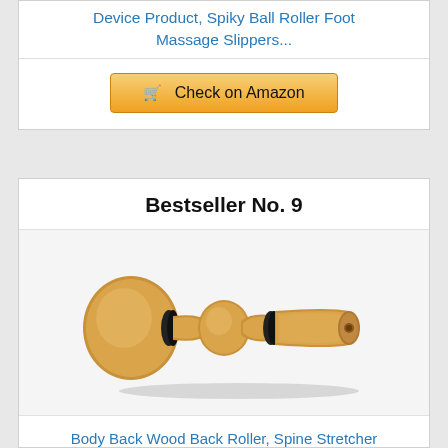Device Product, Spiky Ball Roller Foot Massage Slippers...
[Figure (other): Check on Amazon button with shopping cart icon]
Bestseller No. 9
[Figure (photo): Body Back Wood Back Roller product image - a wooden handheld roller with two ball-shaped ends and a narrow middle section, with black rubber bands]
Body Back Wood Back Roller, Spine Stretcher & Aligner, Ma Roller, Back Cracker for Back Pain...